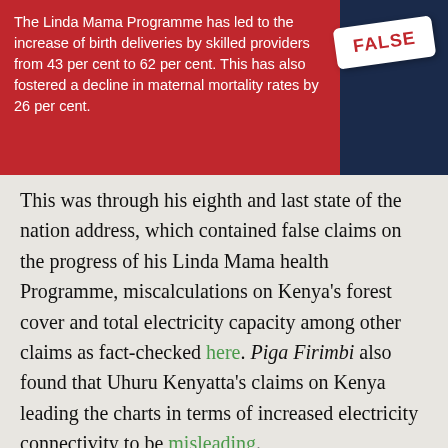[Figure (infographic): A red banner image with text 'The Linda Mama Programme has led to the increase of birth deliveries by skilled providers from 43 per cent to 62 per cent. This has also fostered a decline in maternal mortality rates by 26 per cent.' with a white 'FALSE' badge on the right side, over a dark blue background.]
This was through his eighth and last state of the nation address, which contained false claims on the progress of his Linda Mama health Programme, miscalculations on Kenya's forest cover and total electricity capacity among other claims as fact-checked here. Piga Firimbi also found that Uhuru Kenyatta's claims on Kenya leading the charts in terms of increased electricity connectivity to be misleading.
The president similarly indicated sheer dedication to excluding the country's debt rate, begging the question is the omission of the truth still a lie?